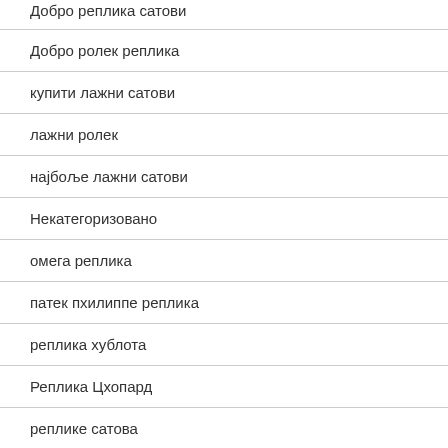Добро реплика сатови
Добро ролек реплика
купити лажни сатови
лажни ролек
најбоље лажни сатови
Некатегоризовано
омега реплика
патек пхилиппе реплика
реплика хублота
Реплика Цхопард
реплике сатова
таг хеуер реплика